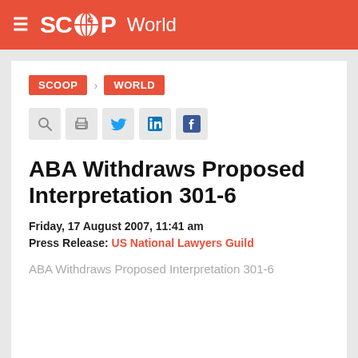SCOOP World
SCOOP > WORLD
[Figure (other): Social sharing icons: search, print, Twitter, LinkedIn, Facebook]
ABA Withdraws Proposed Interpretation 301-6
Friday, 17 August 2007, 11:41 am
Press Release: US National Lawyers Guild
ABA Withdraws Proposed Interpretation 301-6